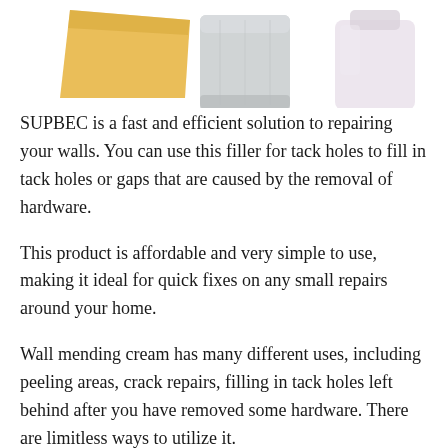[Figure (illustration): Product illustration showing three items: a yellow/gold spatula or scraper tool on the left, a silver/grey cylindrical container in the middle, and a white/light plastic bottle on the right, partially cropped at top of page.]
SUPBEC is a fast and efficient solution to repairing your walls. You can use this filler for tack holes to fill in tack holes or gaps that are caused by the removal of hardware.
This product is affordable and very simple to use, making it ideal for quick fixes on any small repairs around your home.
Wall mending cream has many different uses, including peeling areas, crack repairs, filling in tack holes left behind after you have removed some hardware. There are limitless ways to utilize it.